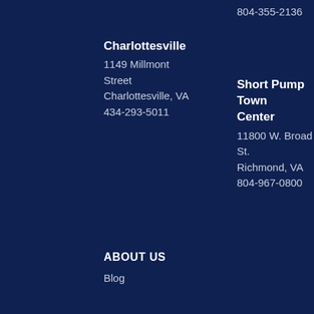804-355-2136
Charlottesville
1149 Millmont Street
Charlottesville, VA
434-293-5011
Short Pump Town Center
11800 W. Broad St.
Richmond, VA
804-967-0800
ABOUT US
Blog